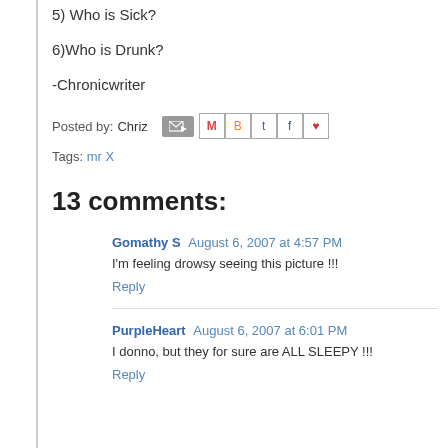5) Who is Sick?
6)Who is Drunk?
-Chronicwriter
Posted by: Chriz
Tags: mr X
13 comments:
Gomathy S  August 6, 2007 at 4:57 PM
I'm feeling drowsy seeing this picture !!!
Reply
PurpleHeart  August 6, 2007 at 6:01 PM
I donno, but they for sure are ALL SLEEPY !!!
Reply